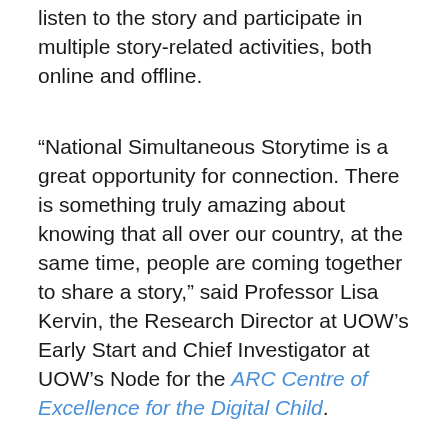listen to the story and participate in multiple story-related activities, both online and offline.
“National Simultaneous Storytime is a great opportunity for connection. There is something truly amazing about knowing that all over our country, at the same time, people are coming together to share a story,” said Professor Lisa Kervin, the Research Director at UOW’s Early Start and Chief Investigator at UOW’s Node for the ARC Centre of Excellence for the Digital Child.
“During the event, we will be reading a great piece of Australian children’s literature, and then we’ll take some time to play with key...